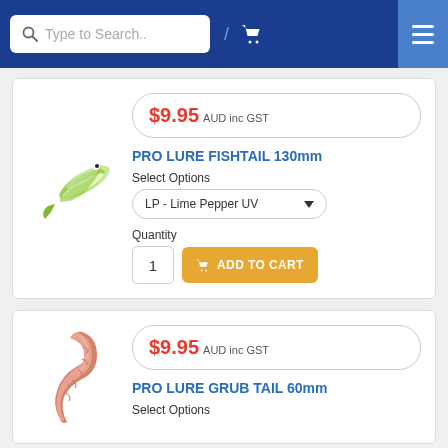Type to Search..
[Figure (screenshot): Product listing page for fishing lures with search bar header, two product cards showing Pro Lure Fishtail 130mm and Pro Lure Grub Tail 60mm, each priced at $9.95 AUD inc GST]
$9.95 AUD inc GST
PRO LURE FISHTAIL 130mm
Select Options
LP - Lime Pepper UV
Quantity
1
ADD TO CART
$9.95 AUD inc GST
PRO LURE GRUB TAIL 60mm
Select Options